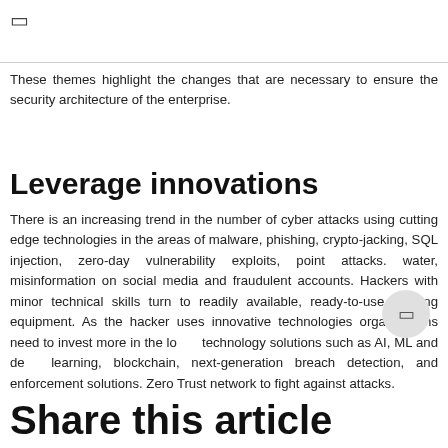These themes highlight the changes that are necessary to ensure the security architecture of the enterprise.
Leverage innovations
There is an increasing trend in the number of cyber attacks using cutting edge technologies in the areas of malware, phishing, crypto-jacking, SQL injection, zero-day vulnerability exploits, point attacks. water, misinformation on social media and fraudulent accounts. Hackers with minor technical skills turn to readily available, ready-to-use hacking equipment. As the hacker uses innovative technologies organizations need to invest more in the latest technology solutions such as AI, ML and deep learning, blockchain, next-generation breach detection, and enforcement solutions. Zero Trust network to fight against attacks.
Share this article